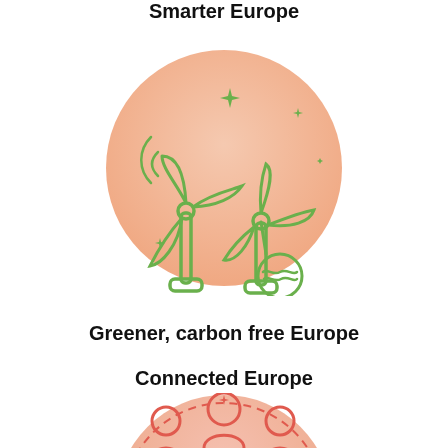Smarter Europe
[Figure (illustration): A circular peach/salmon gradient icon with green line-art wind turbines and a water/wave symbol, with sparkle decorations, representing green energy.]
Greener, carbon free Europe
Connected Europe
[Figure (illustration): A circular peach/salmon gradient icon with red/pink line-art showing people figures and a globe/world symbol, partially cropped at bottom of page.]